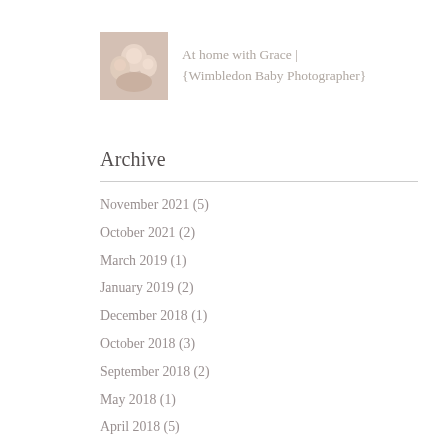[Figure (photo): Small thumbnail photo of a family/mother with baby, warm tones]
At home with Grace |
{Wimbledon Baby Photographer}
Archive
November 2021 (5)
October 2021 (2)
March 2019 (1)
January 2019 (2)
December 2018 (1)
October 2018 (3)
September 2018 (2)
May 2018 (1)
April 2018 (5)
March 2018 (3)